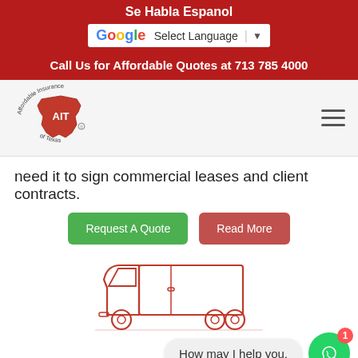Se Habla Espanol
Select Language
Call Us for Affordable Quotes at 713 785 4000
[Figure (logo): Affordable Insurance of Texas (AIT) logo with Texas state outline in red]
need it to sign commercial leases and client contracts.
Request A Quote
Read More
[Figure (illustration): Line illustration of a delivery truck / box truck in red outline style]
How may I help you.
Commercial Auto Insurance